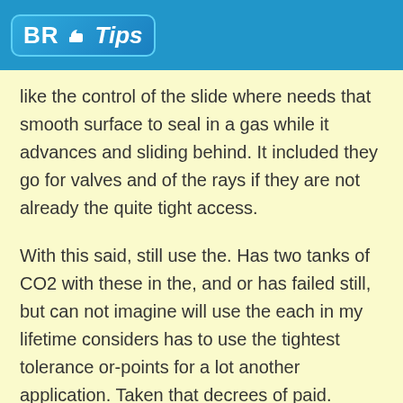BR Tips
like the control of the slide where needs that smooth surface to seal in a gas while it advances and sliding behind. It included they go for valves and of the rays if they are not already the quite tight access.
With this said, still use the. Has two tanks of CO2 with these in the, and or has failed still, but can not imagine will use the each in my lifetime considers has to use the tightest tolerance or-points for a lot another application. Taken that decrees of paid.